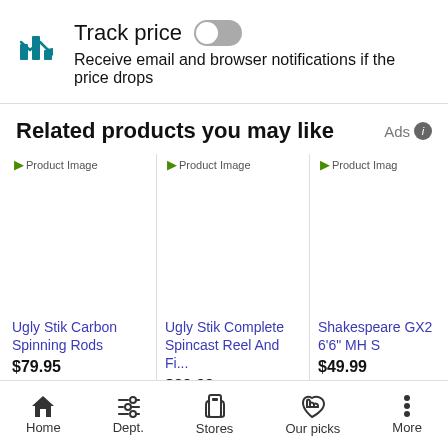Track price — Receive email and browser notifications if the price drops
Related products you may like
[Figure (screenshot): Product card: Ugly Stik Carbon Spinning Rods, $79.95]
[Figure (screenshot): Product card: Ugly Stik Complete Spincast Reel And Fi..., $29.99]
[Figure (screenshot): Product card: Shakespeare GX2 6'6" MH S..., $49.99]
Home  Dept.  Stores  Our picks  More